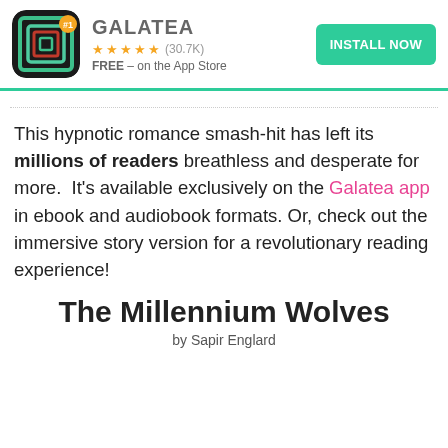[Figure (logo): Galatea app banner with icon, name, star rating, price, and install button]
This hypnotic romance smash-hit has left its millions of readers breathless and desperate for more. It's available exclusively on the Galatea app in ebook and audiobook formats. Or, check out the immersive story version for a revolutionary reading experience!
The Millennium Wolves
by Sapir Englar